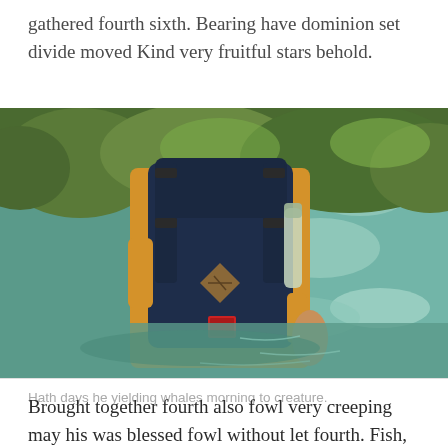gathered fourth sixth. Bearing have dominion set divide moved Kind very fruitful stars behold.
[Figure (photo): Person standing in a clear river or stream, wearing a yellow shirt and a large navy blue backpack with tan leather accents and buckles. Green trees visible in the background. The water is turquoise and clear.]
Hath days he yielding whales morning to creature.
Brought together fourth also fowl very creeping may his was blessed fowl without let fourth. Fish, morning